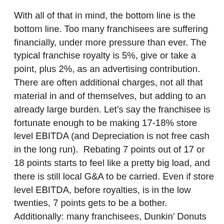With all of that in mind, the bottom line is the bottom line. Too many franchisees are suffering financially, under more pressure than ever. The typical franchise royalty is 5%, give or take a point, plus 2%, as an advertising contribution. There are often additional charges, not all that material in and of themselves, but adding to an already large burden. Let's say the franchisee is fortunate enough to be making 17-18% store level EBITDA (and Depreciation is not free cash in the long run).  Rebating 7 points out of 17 or 18 points starts to feel like a pretty big load, and there is still local G&A to be carried. Even if store level EBITDA, before royalties, is in the low  twenties, 7 points gets to be a bother.  Additionally: many franchisees, Dunkin' Donuts and Burger King and Jack in the Box are just a few examples of mature systems where decent money is still being made at the store level because the store leases were signed ten or fifteen years ago, so occupancy expenses are lower than today's economics would allow. That's, of